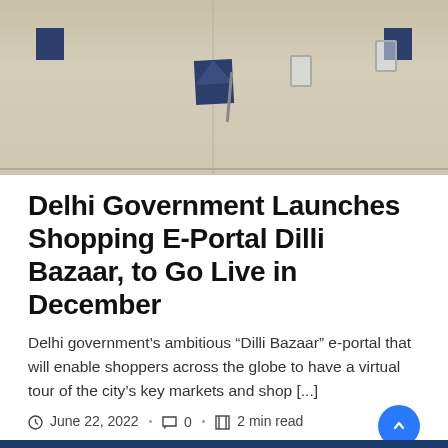[Figure (photo): Top-down view of a conference or dining table with a dark blue folded napkin in the center, a fork, water glasses, and additional napkins at edges. Beige/cream table surface.]
Delhi Government Launches Shopping E-Portal Dilli Bazaar, to Go Live in December
Delhi government’s ambitious “Dilli Bazaar” e-portal that will enable shoppers across the globe to have a virtual tour of the city’s key markets and shop [...]
June 22, 2022 · 0 · 2 min read